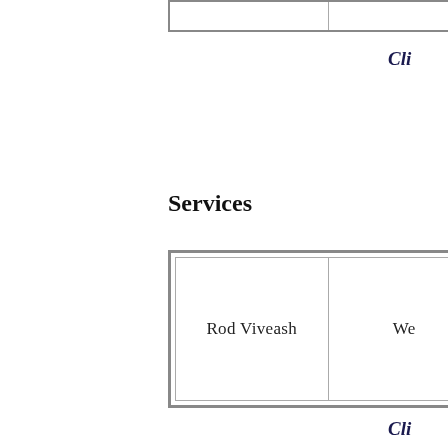[Figure (other): Partial table at top of page showing two columns, cropped at top]
Cli
Services
| Rod Viveash | We |
Cli